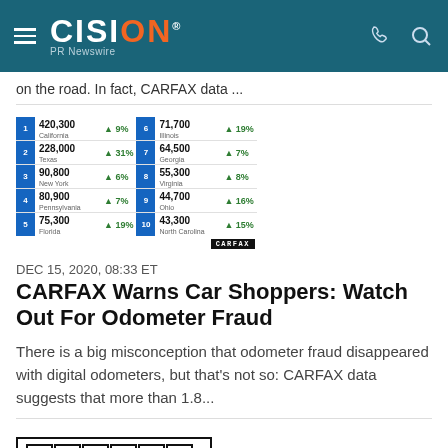CISION PR Newswire
on the road. In fact, CARFAX data ...
[Figure (table-as-image): CARFAX ranking table showing top 10 states for odometer fraud with number of vehicles and percentage increase. 1 California 420,300 ▲9%, 2 Texas 228,000 ▲31%, 3 New York 90,800 ▲6%, 4 Pennsylvania 80,900 ▲7%, 5 Florida 75,300 ▲19%, 6 Illinois 71,700 ▲19%, 7 Georgia 64,500 ▲7%, 8 Virginia 55,300 ▲8%, 9 Ohio 44,700 ▲16%, 10 North Carolina 43,300 ▲15%]
DEC 15, 2020, 08:33 ET
CARFAX Warns Car Shoppers: Watch Out For Odometer Fraud
There is a big misconception that odometer fraud disappeared with digital odometers, but that's not so: CARFAX data suggests that more than 1.8...
[Figure (logo): CARFAX logo with letters in individual boxes and red X]